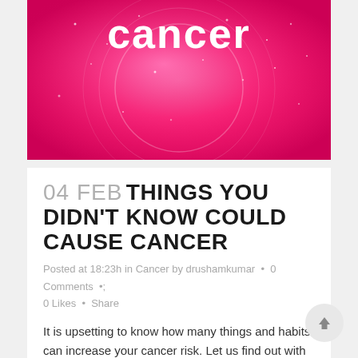[Figure (photo): Pink/magenta background with the word 'cancer' in white bold text, featuring sparkling glitter texture and circular design elements]
04 FEB THINGS YOU DIDN'T KNOW COULD CAUSE CANCER
Posted at 18:23h in Cancer by drushamkumar  •  0 Comments  •  0 Likes  •  Share
It is upsetting to know how many things and habits can increase your cancer risk. Let us find out with Dr. Usha M Kumar – the Top Oncologist